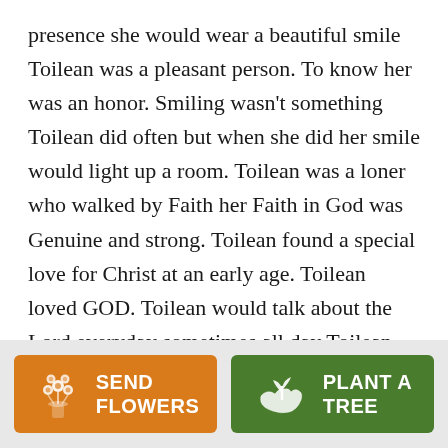presence she would wear a beautiful smile Toilean was a pleasant person. To know her was an honor. Smiling wasn't something Toilean did often but when she did her smile would light up a room. Toilean was a loner who walked by Faith her Faith in God was Genuine and strong. Toilean found a special love for Christ at an early age. Toilean loved GOD. Toilean would talk about the Lord everyday sometimes all day Toilean God Daily. Toilean became ill and fought a lightly battle. On March 25, 2021, the Lord sent angels to remove Toilean Johnson from the battlefield exactly 5
[Figure (infographic): Two action buttons at the bottom: an orange 'SEND FLOWERS' button with a bouquet icon, and a green 'PLANT A TREE' button with a plant/hand icon.]